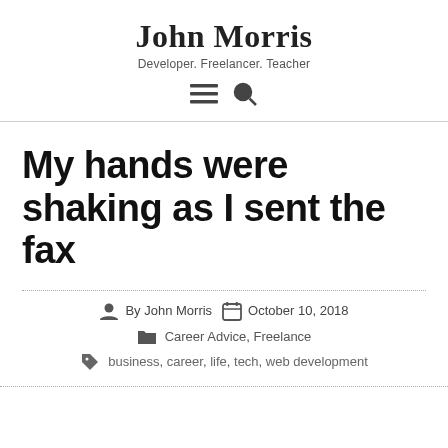John Morris
Developer. Freelancer. Teacher
My hands were shaking as I sent the fax
By John Morris   October 10, 2018
Career Advice, Freelance
business, career, life, tech, web development